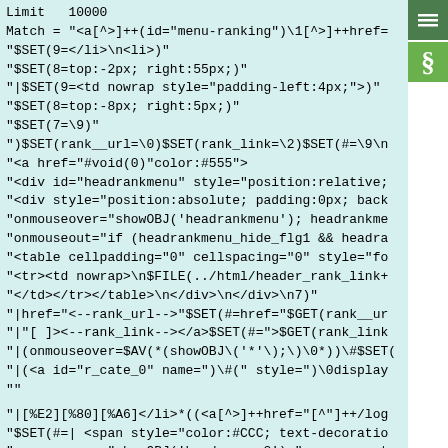Limit   10000
Match = "<a[^>]++(id="menu-ranking")\1[^>]++href=..."
"$SET(9=</li>\n<li>)"
"$SET(8=top:-2px; right:55px;)"
"|$SET(9=<td nowrap style="padding-left:4px;">)"
"$SET(8=top:-8px; right:5px;)"
"$SET(7=\9)"
")$SET(rank__url=\0)$SET(rank_link=\2)$SET(#=\9\n..."
"<a href="javascript:void(0)" onmouseover="headra..."
"<div id="headrankmenu" style="position:relative;..."
"<div style="position:absolute; padding:0px; back..."
"onmouseover="showOBJ('headrankmenu'); headrankme..."
"onmouseout="if (headrankmenu_hide_flg1 && headra..."
"<table cellpadding="0" cellspacing="0" style="fo..."
"<tr><td nowrap>\n$FILE(../html/header_rank_link+..."
"</td></tr></table>\n</div>\n</div>\n7)"
"|href="<--rank_url-->"$SET(#=href="$GET(rank__ur..."
"|"[ ]><--rank_link--></a>$SET(#=">$GET(rank_link..."
"|(onmouseover=$AV(*(showOBJ('*'\);)\0*))\#$SET(..."
"|(< a id="r_cate_0" name=")\#(" style=")\0display..."
""
"|[%E2][%80][%A6]</li>*((< a[^>]++href="[^"]++/log..."
"$SET(#=| <span style="color:#CCC; text-decoratio..."
"onmouseover="showOBJ('headmenu_g2');" onmouseout..."
"\n<div id="headmenu_g2" style="position:relative..."
"\n<div class="headmenu_g" onmouseout="hideOBJ('h..."
"top:-6px; right:0px; font-size:10px; line-height..."